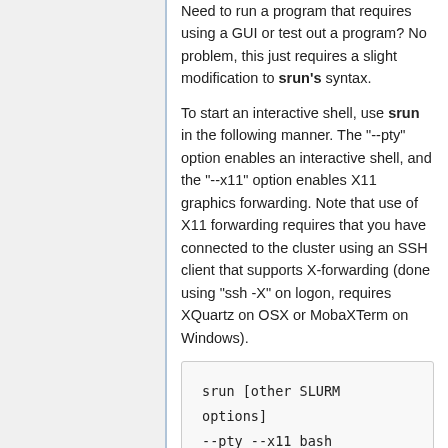Need to run a program that requires using a GUI or test out a program? No problem, this just requires a slight modification to srun's syntax.
To start an interactive shell, use srun in the following manner. The "--pty" option enables an interactive shell, and the "--x11" option enables X11 graphics forwarding. Note that use of X11 forwarding requires that you have connected to the cluster using an SSH client that supports X-forwarding (done using "ssh -X" on logon, requires XQuartz on OSX or MobaXTerm on Windows).
[Figure (screenshot): Code block showing: srun [other SLURM options] --pty --x11 bash]
Example usage (use 4 processors and 6